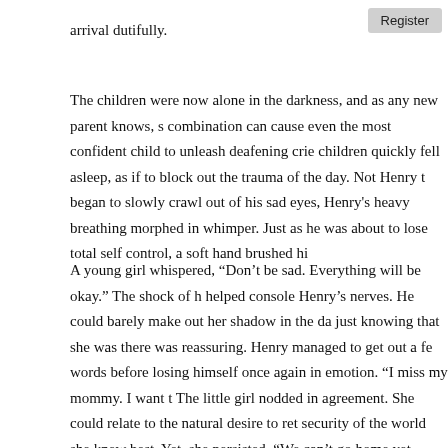arrival dutifully.
The children were now alone in the darkness, and as any new parent knows, s combination can cause even the most confident child to unleash deafening crie children quickly fell asleep, as if to block out the trauma of the day. Not Henry t began to slowly crawl out of his sad eyes, Henry's heavy breathing morphed in whimper. Just as he was about to lose total self control, a soft hand brushed hi
A young girl whispered, “Don’t be sad. Everything will be okay.” The shock of h helped console Henry’s nerves. He could barely make out her shadow in the da just knowing that she was there was reassuring. Henry managed to get out a fe words before losing himself once again in emotion. “I miss my mommy. I want t The little girl nodded in agreement. She could relate to the natural desire to ret security of the world she knew best. Yet, she persisted, “We can’t go home yet. won’t allow it.” Henry, whose anger towards the King had been building furious silenced in court, became enraged at the mere mention of his name. “But the K tonight! He got to see his mother!” The little girl listened intently to his emotiona either brilliantly or ignorantly responded, “You heard the King in court. We will g